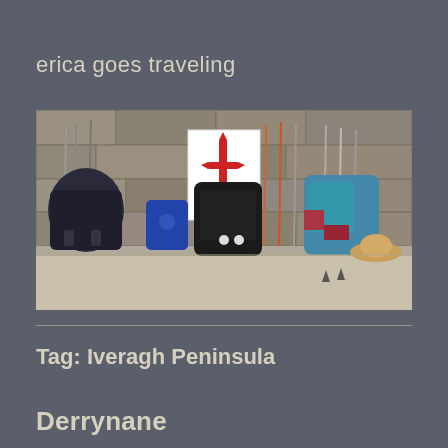erica goes traveling
[Figure (photo): Backpacks and hiking poles leaning against a stone wall, with a white sign bearing a red cross/sword symbol (Camino de Santiago emblem). Multiple backpacks of various colors including black, blue, and teal are visible on the ground.]
Tag: Iveragh Peninsula
Derrynane